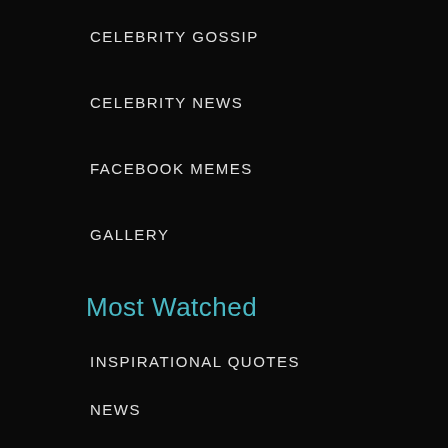CELEBRITY GOSSIP
CELEBRITY NEWS
FACEBOOK MEMES
GALLERY
Most Watched
INSPIRATIONAL QUOTES
NEWS
TV
VIRAL
VIDEO
GALLERY
NATURE
GENIUS